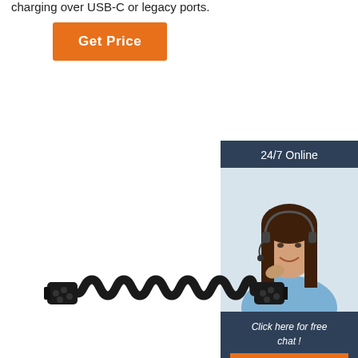charging over USB-C or legacy ports.
[Figure (other): Orange 'Get Price' button]
[Figure (other): 24/7 Online customer service widget with photo of woman wearing headset, 'Click here for free chat!' text, and QUOTATION button]
[Figure (photo): Coiled black cable with multi-pin connectors on each end]